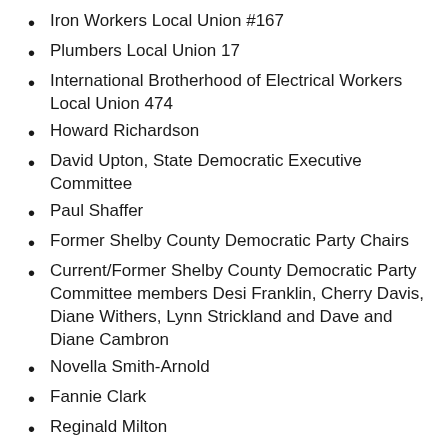Iron Workers Local Union #167
Plumbers Local Union 17
International Brotherhood of Electrical Workers Local Union 474
Howard Richardson
David Upton, State Democratic Executive Committee
Paul Shaffer
Former Shelby County Democratic Party Chairs
Current/Former Shelby County Democratic Party Committee members Desi Franklin, Cherry Davis, Diane Withers, Lynn Strickland and Dave and Diane Cambron
Novella Smith-Arnold
Fannie Clark
Reginald Milton
Billy Orgel
Brad Watkins